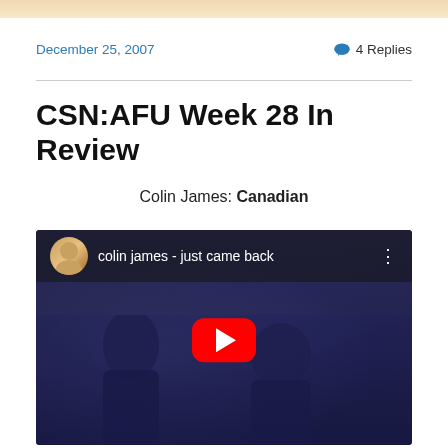December 25, 2007
4 Replies
CSN:AFU Week 28 In Review
Colin James: Canadian
[Figure (screenshot): YouTube video embed showing 'colin james - just came back' with a blue-tinted music video thumbnail featuring performers on stage and a red YouTube play button in the center]